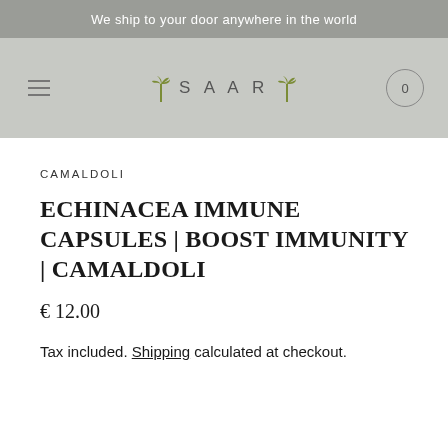We ship to your door anywhere in the world
[Figure (logo): SAAR brand logo with palm tree icons on either side of the text SAAR, on a light gray navigation bar with hamburger menu icon on left and cart icon (0) on right]
CAMALDOLI
ECHINACEA IMMUNE CAPSULES | BOOST IMMUNITY | CAMALDOLI
€ 12.00
Tax included. Shipping calculated at checkout.